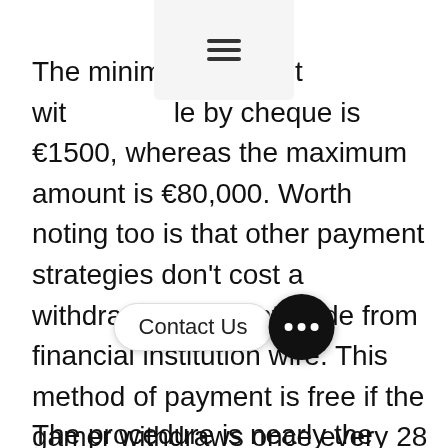The minimum amount withdrawable by cheque is €1500, whereas the maximum amount is €80,000. Worth noting too is that other payment strategies don't cost a withdrawal payment aside from financial institution wire. This method of payment is free if the gamer withdraws once every 28 days.
The procedure is nearly the identical because the one described above. To register Bet365 on the site utilizing your gadget you will want to obtain a cell software. You can install the utility from the company's official web site.
The main purpose for their actions is the chance to make on-line forecasts on dependable assets. make a deposit of 30$ and receive 30$ in bet credits. You